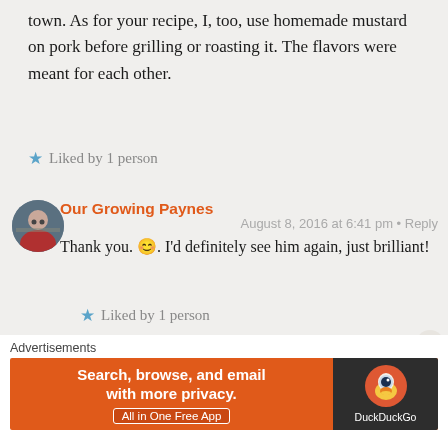town. As for your recipe, I, too, use homemade mustard on pork before grilling or roasting it. The flavors were meant for each other.
★ Liked by 1 person
Our Growing Paynes
August 8, 2016 at 6:41 pm • Reply
Thank you. 😊. I'd definitely see him again, just brilliant!
★ Liked by 1 person
FrugalHausfrau
August 13, 2016 at 2:27 am • Reply
Another healthly and lovely meal! You've been on
Advertisements
Search, browse, and email with more privacy.
All in One Free App
DuckDuckGo